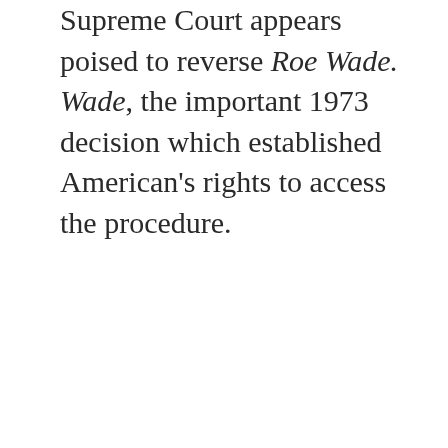Supreme Court appears poised to reverse Roe Wade. Wade, the important 1973 decision which established American's rights to access the procedure.